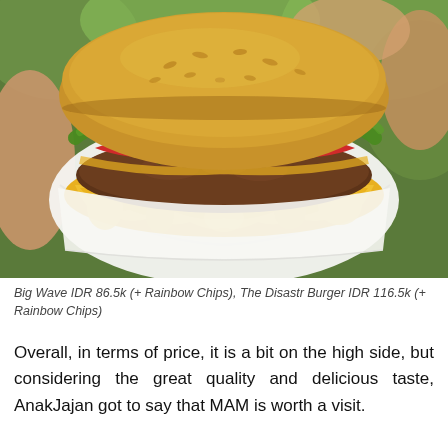[Figure (photo): Close-up photograph of a large cheeseburger with melted yellow cheese overflowing the patty, topped with tomato slices and lettuce, on a whole grain bun, held in white paper in someone's hands against a blurred green background.]
Big Wave IDR 86.5k (+ Rainbow Chips), The Disastr Burger IDR 116.5k (+ Rainbow Chips)
Overall, in terms of price, it is a bit on the high side, but considering the great quality and delicious taste, AnakJajan got to say that MAM is worth a visit.